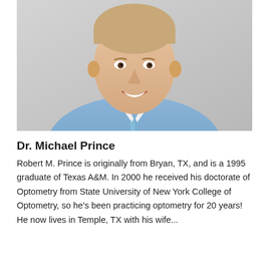[Figure (photo): Professional headshot of Dr. Michael Prince, a middle-aged man with short light hair, smiling, wearing a light blue dress shirt and a blue and white striped tie, against a light gray background.]
Dr. Michael Prince
Robert M. Prince is originally from Bryan, TX, and is a 1995 graduate of Texas A&M. In 2000 he received his doctorate of Optometry from State University of New York College of Optometry, so he's been practicing optometry for 20 years! He now lives in Temple, TX with his wife...